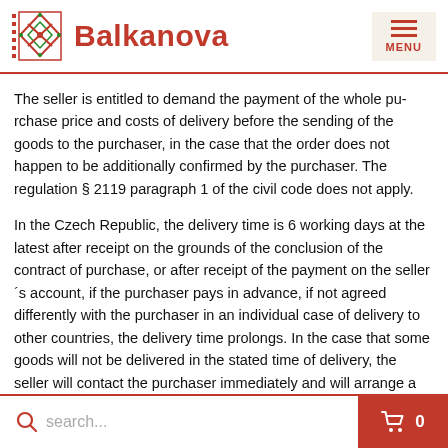Balkanova — MENU header with logo
The seller is entitled to demand the payment of the whole purchase price and costs of delivery before the sending of the goods to the purchaser, in the case that the order does not happen to be additionally confirmed by the purchaser. The regulation § 2119 paragraph 1 of the civil code does not apply.
In the Czech Republic, the delivery time is 6 working days at the latest after receipt on the grounds of the conclusion of the contract of purchase, or after receipt of the payment on the seller´s account, if the purchaser pays in advance, if not agreed differently with the purchaser in an individual case. In case of delivery to other countries, the delivery time prolongs. In the case that some goods will not be delivered in the stated time of delivery, the seller will contact the purchaser immediately and will arrange a different deadline, or the seller will enable the purchaser to back out of the contract.
search... | cart 0